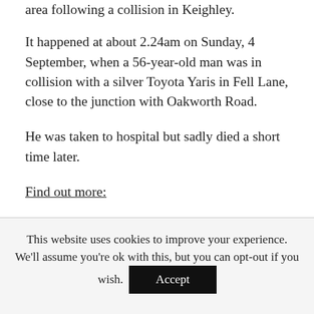area following a collision in Keighley.
It happened at about 2.24am on Sunday, 4 September, when a 56-year-old man was in collision with a silver Toyota Yaris in Fell Lane, close to the junction with Oakworth Road.
He was taken to hospital but sadly died a short time later.
Find out more:
Source:: West Yorkshire Police Appeals
This website uses cookies to improve your experience. We'll assume you're ok with this, but you can opt-out if you wish. Accept